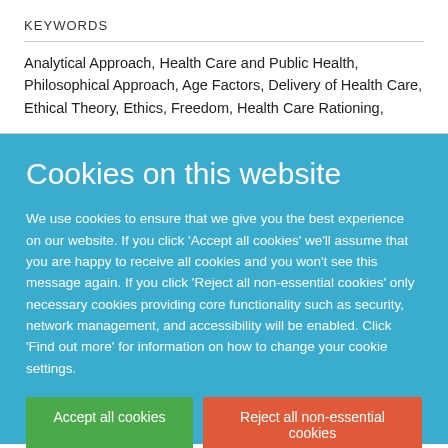KEYWORDS
Analytical Approach, Health Care and Public Health, Philosophical Approach, Age Factors, Delivery of Health Care, Ethical Theory, Ethics, Freedom, Health Care Rationing,
Cookies on this website
We use cookies to ensure that we give you the best experience on our website. If you click 'Accept all cookies' we'll assume that you are happy to receive all cookies and you won't see this message again. If you click 'Reject all non-essential cookies' only necessary cookies providing core functionality such as security, network management, and accessibility will be enabled. Click 'Find out more' for information on how to change your cookie settings.
Accept all cookies
Reject all non-essential cookies